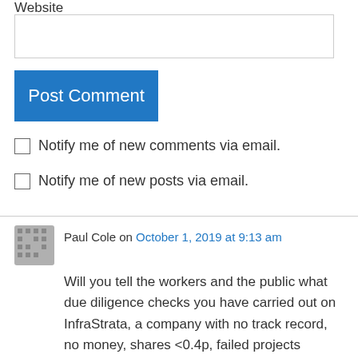Website
[Website input field]
Post Comment
Notify me of new comments via email.
Notify me of new posts via email.
Paul Cole on October 1, 2019 at 9:13 am
Will you tell the workers and the public what due diligence checks you have carried out on InfraStrata, a company with no track record, no money, shares <0.4p, failed projects already in Northern Ireland. Islandmagee Gas Caverns